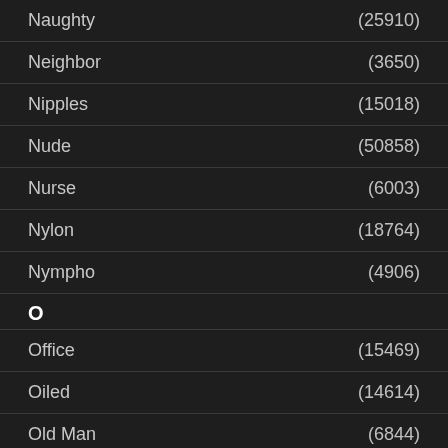Naughty (25910)
Neighbor (3650)
Nipples (15018)
Nude (50858)
Nurse (6003)
Nylon (18764)
Nympho (4906)
O
Office (15469)
Oiled (14614)
Old Man (6844)